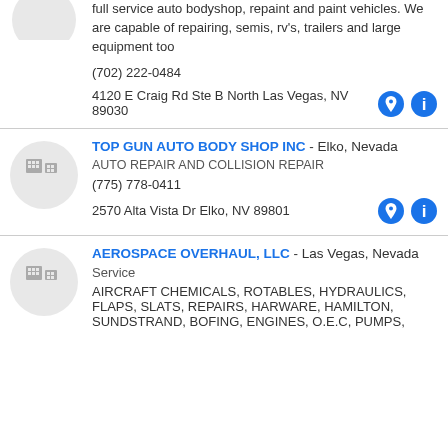full service auto bodyshop, repaint and paint vehicles. We are capable of repairing, semis, rv's, trailers and large equipment too
(702) 222-0484
4120 E Craig Rd Ste B North Las Vegas, NV 89030
TOP GUN AUTO BODY SHOP INC - Elko, Nevada
AUTO REPAIR AND COLLISION REPAIR
(775) 778-0411
2570 Alta Vista Dr Elko, NV 89801
AEROSPACE OVERHAUL, LLC - Las Vegas, Nevada
Service
AIRCRAFT CHEMICALS, ROTABLES, HYDRAULICS, FLAPS, SLATS, REPAIRS, HARWARE, HAMILTON, SUNDSTRAND, BOFING, ENGINES, O.E.C, PUMPS,